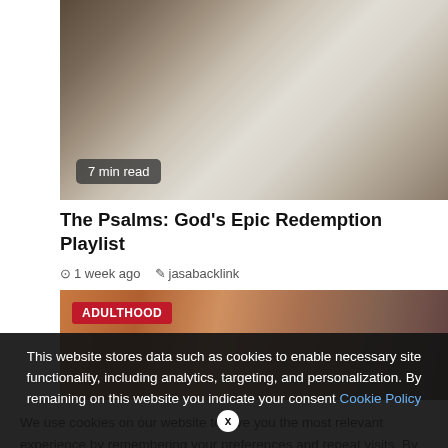[Figure (photo): Person reading a book with text pages visible, top-down view with hand/wrist in frame]
7 min read
The Psalms: God's Epic Redemption Playlist
1 week ago  jasabacklink
[Figure (photo): Person with hands near head, warm toned background, ADULTHOOD label overlay]
We use cookies on our website to give you the most relevant experience by remembering your preferences and repeat visits. By clicking "Accept All", you consent to the use of ALL provide a controlled consent.
This website stores data such as cookies to enable necessary site functionality, including analytics, targeting, and personalization. By remaining on this website you indicate your consent Cookie Policy